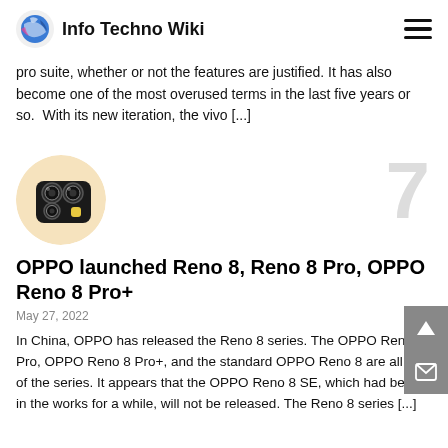Info Techno Wiki
pro suite, whether or not the features are justified. It has also become one of the most overused terms in the last five years or so. With its new iteration, the vivo [...]
[Figure (photo): Circular thumbnail image of a smartphone camera module with triple lenses, shown from top, with a light/cream background, for the OPPO Reno 8 article.]
OPPO launched Reno 8, Reno 8 Pro, OPPO Reno 8 Pro+
May 27, 2022
In China, OPPO has released the Reno 8 series. The OPPO Reno 8 Pro, OPPO Reno 8 Pro+, and the standard OPPO Reno 8 are all part of the series. It appears that the OPPO Reno 8 SE, which had been in the works for a while, will not be released. The Reno 8 series [...]